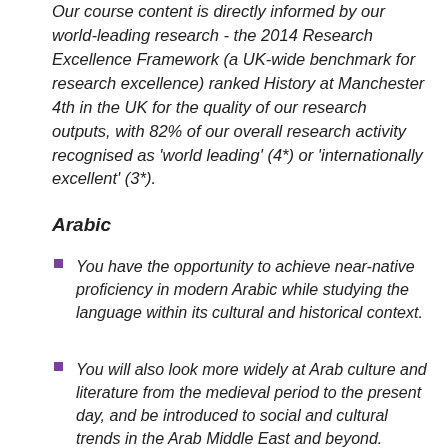Our course content is directly informed by our world-leading research - the 2014 Research Excellence Framework (a UK-wide benchmark for research excellence) ranked History at Manchester 4th in the UK for the quality of our research outputs, with 82% of our overall research activity recognised as 'world leading' (4*) or 'internationally excellent' (3*).
Arabic
You have the opportunity to achieve near-native proficiency in modern Arabic while studying the language within its cultural and historical context.
You will also look more widely at Arab culture and literature from the medieval period to the present day, and be introduced to social and cultural trends in the Arab Middle East and beyond.